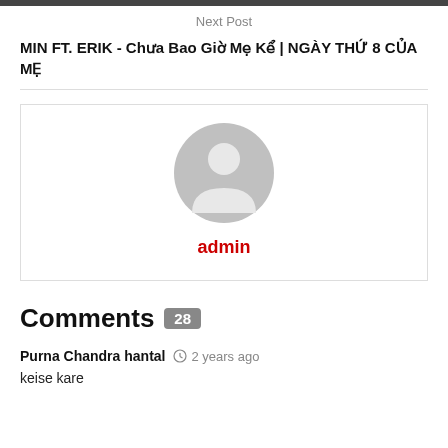Next Post
MIN FT. ERIK - Chưa Bao Giờ Mẹ Kể | NGÀY THỨ 8 CỦA MẸ
[Figure (illustration): Generic user avatar (gray circle with person silhouette) inside a white bordered box, with red 'admin' text below the avatar]
Comments 28
Purna Chandra hantal  2 years ago
keise kare